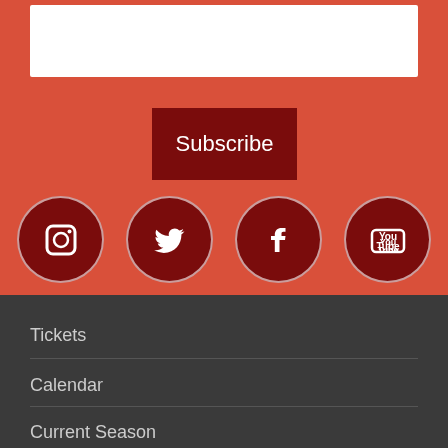[Figure (screenshot): White input box on red background]
Subscribe
[Figure (infographic): Four social media icons in dark red circles: Instagram, Twitter, Facebook, YouTube on a red background]
Tickets
Calendar
Current Season